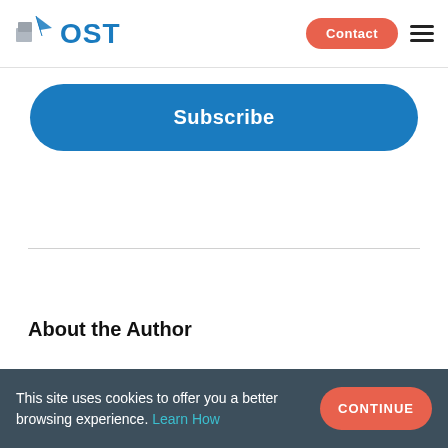OST | Contact
Subscribe
About the Author
This site uses cookies to offer you a better browsing experience. Learn How